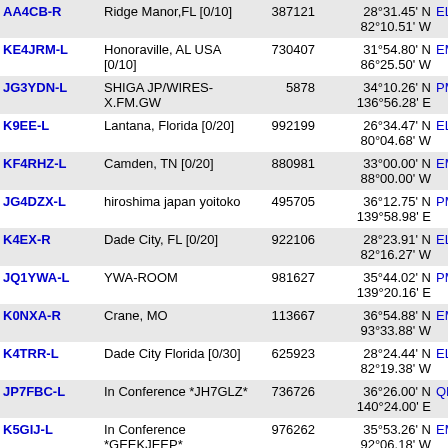| Callsign | Location | ID | Coordinates | Grid | Freq |
| --- | --- | --- | --- | --- | --- |
| AA4CB-R | Ridge Manor,FL [0/10] | 387121 | 28°31.45' N 82°10.51' W | EL88vm | 5572 |
| KE4JRM-L | Honoraville, AL USA [0/10] | 730407 | 31°54.80' N 86°25.50' W | EM61sv | 5575 |
| JG3YDN-L | SHIGA JP/WIRES-X.FM.GW | 5878 | 34°10.26' N 136°56.28' E | PM84le | 5575 |
| K9EE-L | Lantana, Florida [0/20] | 992199 | 26°34.47' N 80°04.68' W | EL96xn | 5579 |
| KF4RHZ-L | Camden, TN [0/20] | 880981 | 33°00.00' N 88°00.00' W | EM63aa | 5581 |
| JG4DZX-L | hiroshima japan yoitoko | 495705 | 36°12.75' N 139°58.98' E | PM96xf | 5581 |
| K4EX-R | Dade City, FL [0/20] | 922106 | 28°23.91' N 82°16.27' W | EL88uj | 5582 |
| JQ1YWA-L | YWA-ROOM | 981627 | 35°44.02' N 139°20.16' E | PM95qr | 5583 |
| K0NXA-R | Crane, MO | 113667 | 36°54.88' N 93°33.88' W | EM36fv | 5583 |
| K4TRR-L | Dade City Florida [0/30] | 625923 | 28°24.44' N 82°19.38' W | EL88uj | 5584 |
| JP7FBC-L | In Conference *JH7GLZ* | 736726 | 36°26.00' N 140°24.00' E | QM06ek | 5585 |
| K5GIJ-L | In Conference *GEEKJEEP* | 976262 | 35°53.26' N 92°06.18' W | EM35wv | 5585 |
| K5GIJ-R | In Conference *GEEKJEEP* | 976261 | 35°53.26' N 92°06.18' W | EM35wv | 5585 |
| K5TUX-L | Mount Vernon, Missouri | 54711 | 37°03.46' N | EM37hh | 558 |